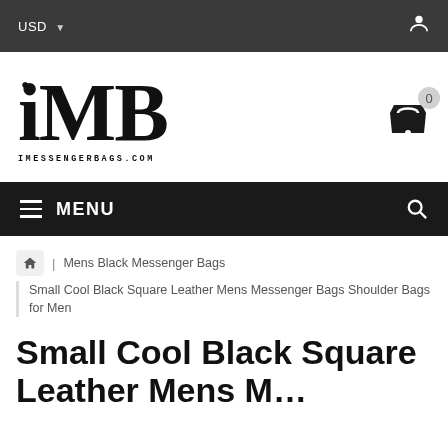USD ▾
[Figure (logo): iMessengerBags.com logo — stylized 'iMB' lettermark with dot above lowercase i, large bold serif M and B, and 'IMESSENGERBAGS.COM' text below]
MENU
Mens Black Messenger Bags
Small Cool Black Square Leather Mens Messenger Bags Shoulder Bags for Men
Small Cool Black Square Leather Mens M...